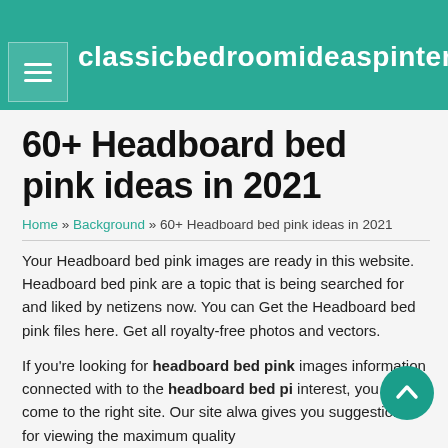classicbedroomideaspinterest
60+ Headboard bed pink ideas in 2021
Home » Background » 60+ Headboard bed pink ideas in 2021
Your Headboard bed pink images are ready in this website. Headboard bed pink are a topic that is being searched for and liked by netizens now. You can Get the Headboard bed pink files here. Get all royalty-free photos and vectors.
If you're looking for headboard bed pink images information connected with to the headboard bed pink interest, you have come to the right site. Our site always gives you suggestions for viewing the maximum quality